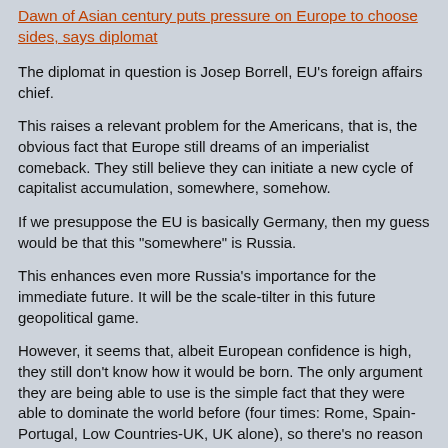Dawn of Asian century puts pressure on Europe to choose sides, says diplomat
The diplomat in question is Josep Borrell, EU's foreign affairs chief.
This raises a relevant problem for the Americans, that is, the obvious fact that Europe still dreams of an imperialist comeback. They still believe they can initiate a new cycle of capitalist accumulation, somewhere, somehow.
If we presuppose the EU is basically Germany, then my guess would be that this "somewhere" is Russia.
This enhances even more Russia's importance for the immediate future. It will be the scale-tilter in this future geopolitical game.
However, it seems that, albeit European confidence is high, they still don't know how it would be born. The only argument they are being able to use is the simple fact that they were able to dominate the world before (four times: Rome, Spain-Portugal, Low Countries-UK, UK alone), so there's no reason not to think they could do it again (an idealist conception of the world, but an ideology either way).
In The Guardian, there's a columnist called Martin Kettle. This guy is curious, because, apparently, he only has one